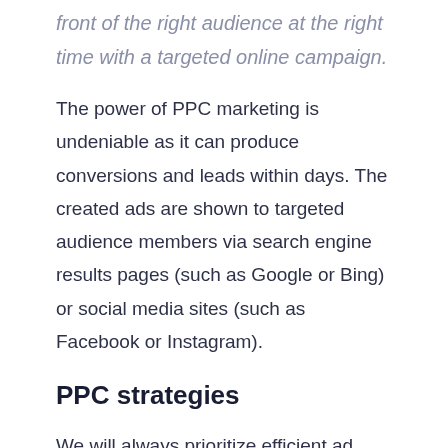front of the right audience at the right time with a targeted online campaign.
The power of PPC marketing is undeniable as it can produce conversions and leads within days. The created ads are shown to targeted audience members via search engine results pages (such as Google or Bing) or social media sites (such as Facebook or Instagram).
PPC strategies
We will always prioritize efficient ad spending to ensure maximum profitability. After we have a clear understanding of your audience based on your ad feedback, we will start an ongoing optimization that frequently changes based on the